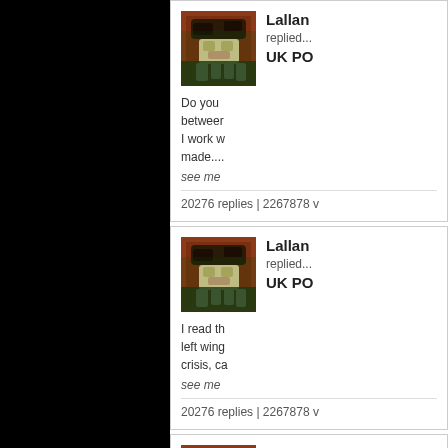[Figure (photo): Beagle puppy avatar thumbnail]
Lallan replied UK PO Do you between I work w made....
see me
20276 replies | 2267878 v
[Figure (photo): Beagle puppy avatar thumbnail]
Lallan replied UK PO I read th left wing crisis, ca
see me
20276 replies | 2267878 v
[Figure (photo): Beagle puppy avatar thumbnail]
Lallan replied 2.0 in Bets on